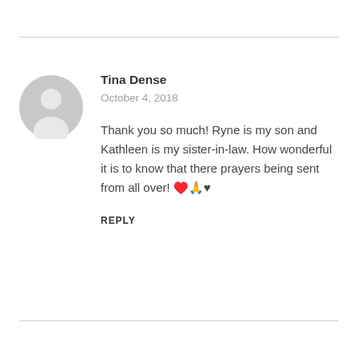[Figure (illustration): Gray circular avatar/user placeholder icon with silhouette of a person]
Tina Dense
October 4, 2018
Thank you so much! Ryne is my son and Kathleen is my sister-in-law. How wonderful it is to know that there prayers being sent from all over! ❤️🙏❤️
REPLY